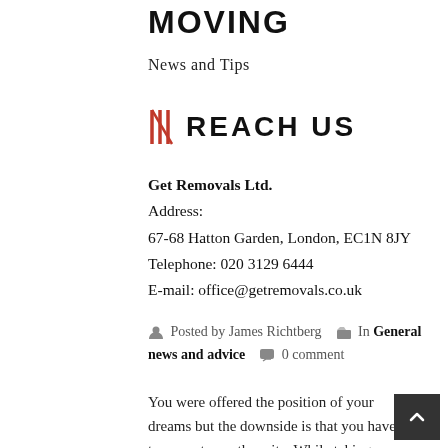MOVING
News and Tips
REACH US
Get Removals Ltd.
Address:
67-68 Hatton Garden, London, EC1N 8JY
Telephone: 020 3129 6444
E-mail: office@getremovals.co.uk
Posted by James Richtberg   In General news and advice   0 comment
You were offered the position of your dreams but the downside is that you have to move to another city. While taking such a decision isn't